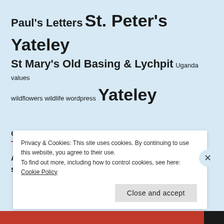Paul's Letters St. Peter's Yateley St Mary's Old Basing & Lychpit Uganda values wildflowers wildlife wordpress Yateley
COPYRIGHT
All the content and photographs (unless otherwise specified) are the property of the author. You are
Privacy & Cookies: This site uses cookies. By continuing to use this website, you agree to their use.
To find out more, including how to control cookies, see here: Cookie Policy
Close and accept